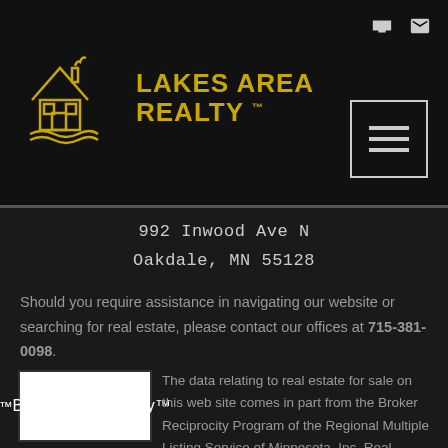[Figure (logo): Lakes Area Realty logo with house icon on dark background, gold/yellow color]
992 Inwood Ave N
Oakdale, MN 55128
Should you require assistance in navigating our website or searching for real estate, please contact our offices at 715-381-0098.
[Figure (logo): Broker Reciprocity logo - white box with black house icon and text 'Broker Reciprocity']
The data relating to real estate for sale on this web site comes in part from the Broker Reciprocity Program of the Regional Multiple Listing Service of Minnesota, Inc. Real estate listings held by brokerage firms other than are marked with the Broker Reciprocity logo or the Broker Reciprocity thumbnail logo (little black house) and